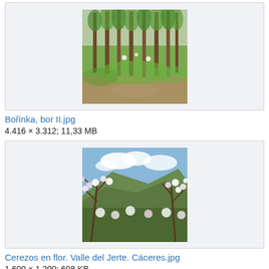[Figure (photo): Forest scene with tall pine trees and green undergrowth — Bořinka, bor II.jpg]
Bořinka, bor II.jpg
4.416 × 3.312; 11,33 MB
[Figure (photo): Cherry trees in blossom with mountain and blue sky in background — Cerezos en flor. Valle del Jerte. Cáceres.jpg]
Cerezos en flor. Valle del Jerte. Cáceres.jpg
1.600 × 1.200; 608 KB